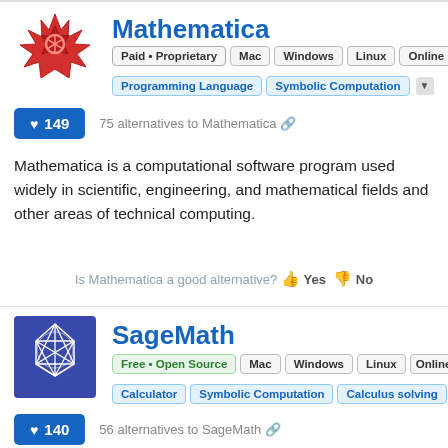Mathematica
Paid • Proprietary  Mac  Windows  Linux  Online
Programming Language  Symbolic Computation
♥ 149
75 alternatives to Mathematica
Mathematica is a computational software program used widely in scientific, engineering, and mathematical fields and other areas of technical computing.
Is Mathematica a good alternative? Yes No
SageMath
Free • Open Source  Mac  Windows  Linux  Online
Calculator  Symbolic Computation  Calculus solving
♥ 140
56 alternatives to SageMath
SageMath is a free open-source mathematics software system